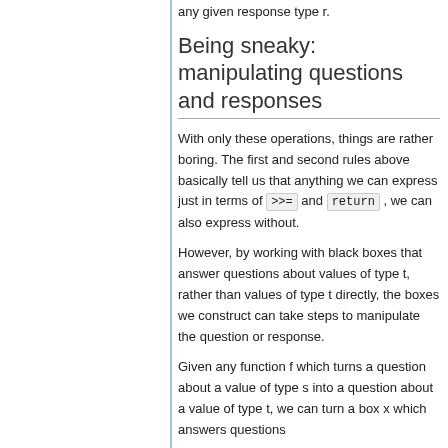any given response type r.
Being sneaky: manipulating questions and responses
With only these operations, things are rather boring. The first and second rules above basically tell us that anything we can express just in terms of >>= and return , we can also express without.
However, by working with black boxes that answer questions about values of type t, rather than values of type t directly, the boxes we construct can take steps to manipulate the question or response.
Given any function f which turns a question about a value of type s into a question about a value of type t, we can turn a box x which answers questions